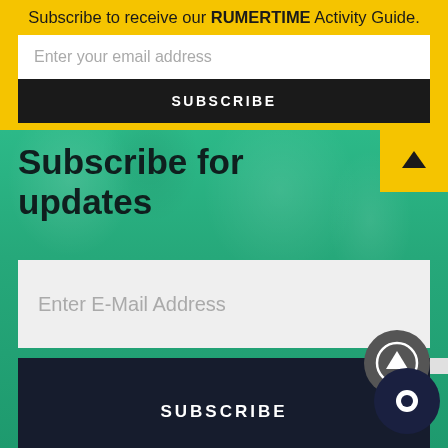Subscribe to receive our RUMERTIME Activity Guide.
Enter your email address
SUBSCRIBE
Subscribe for updates
Enter E-Mail Address
SUBSCRIBE